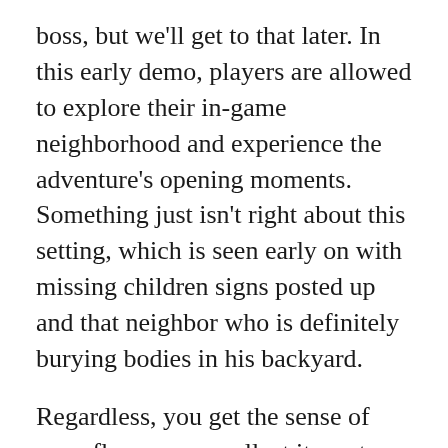boss, but we'll get to that later. In this early demo, players are allowed to explore their in-game neighborhood and experience the adventure's opening moments. Something just isn't right about this setting, which is seen early on with missing children signs posted up and that neighbor who is definitely burying bodies in his backyard.
Regardless, you get the sense of gameflow as you collect items to use around the neighborhood that grants you access to new areas. For starters, your sister wants a street cone for her room. Once you get it for her, she'll join your team, which allows you to fight against a group of raccoons blocking your